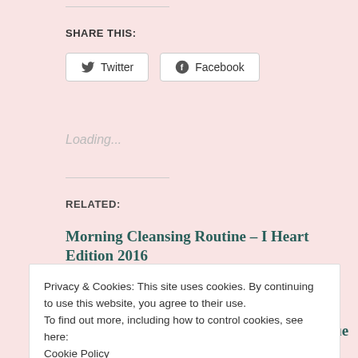SHARE THIS:
[Figure (screenshot): Twitter share button with bird icon]
[Figure (screenshot): Facebook share button with f icon]
Loading...
RELATED:
Morning Cleansing Routine – I Heart Edition 2016
March 28, 2016
In "I Heart Edition 2016"
Rimmel 3 for 2 @ Boots – The Review Issue 2015
Privacy & Cookies: This site uses cookies. By continuing to use this website, you agree to their use.
To find out more, including how to control cookies, see here:
Cookie Policy